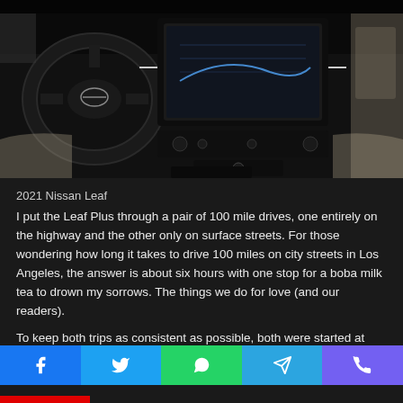[Figure (photo): Interior of a 2021 Nissan Leaf showing the dashboard, steering wheel, center console with touchscreen infotainment system, and front seats with beige/tan upholstery against a dark background.]
2021 Nissan Leaf
I put the Leaf Plus through a pair of 100 mile drives, one entirely on the highway and the other only on surface streets. For those wondering how long it takes to drive 100 miles on city streets in Los Angeles, the answer is about six hours with one stop for a boba milk tea to drown my sorrows. The things we do for love (and our readers).
To keep both trips as consistent as possible, both were started at around 10 a.m. with similar outside temperatures. The